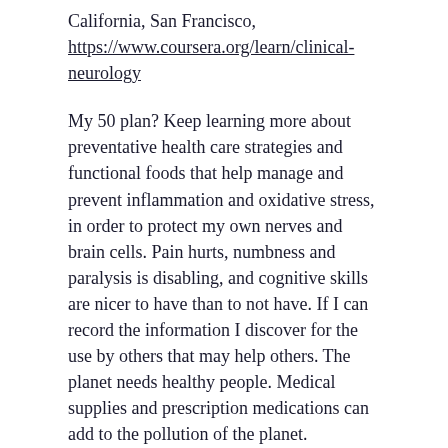California, San Francisco, https://www.coursera.org/learn/clinical-neurology
My 50 plan? Keep learning more about preventative health care strategies and functional foods that help manage and prevent inflammation and oxidative stress, in order to protect my own nerves and brain cells. Pain hurts, numbness and paralysis is disabling, and cognitive skills are nicer to have than to not have. If I can record the information I discover for the use by others that may help others. The planet needs healthy people. Medical supplies and prescription medications can add to the pollution of the planet. Functional foods and preservation of health would be helping to reduce the pollution burden for the planet and reduce expense for individuals, businesses and governments.